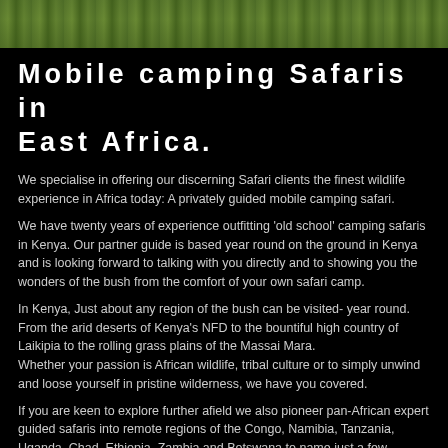[Figure (photo): Green vegetation/bush landscape photo strip at top of page]
Mobile camping Safaris in East Africa.
We specialise in offering our discerning Safari clients the finest wildlife experience in Africa today: A privately guided mobile camping safari.
We have twenty years of experience outfitting 'old school' camping safaris in Kenya. Our partner guide is based year round on the ground in Kenya and is looking forward to talking with you directly and to showing you the wonders of the bush from the comfort of your own safari camp.
In Kenya, Just about any region of the bush can be visited- year round. From the arid deserts of Kenya's NFD to the bountiful high country of Laikipia to the rolling grass plains of the Massai Mara.
Whether your passion is African wildlife, tribal culture or to simply unwind and loose yourself in pristine wilderness,  we have you covered.
If you are keen to explore further afield we also pioneer pan-African expert guided safaris into remote regions of the Congo, Namibia, Tanzania, Uganda, Chad, Ethiopia, Zambia and Botswana to name just a few countries in which we offer a peerless safari experience.
We look forward to talking all things 'Safari' and showing